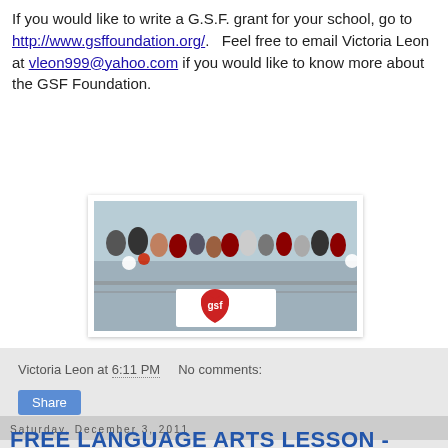If you would like to write a G.S.F. grant for your school, go to http://www.gsffoundation.org/.   Feel free to email Victoria Leon at vleon999@yahoo.com if you would like to know more about the GSF Foundation.
[Figure (photo): Group photo of people standing together holding a white GSF (heart logo) banner, posed on what appears to be a balcony or stairwell area.]
Victoria Leon at 6:11 PM   No comments:
Share
Saturday, December 3, 2011
FREE LANGUAGE ARTS LESSON -